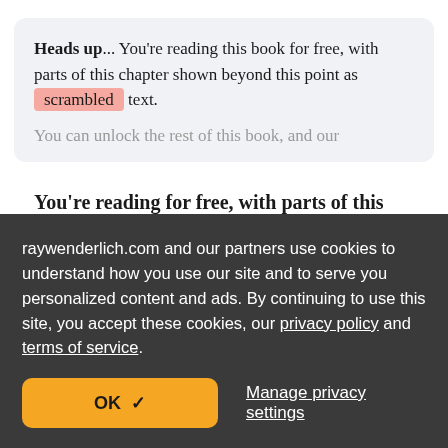Heads up... You're reading this book for free, with parts of this chapter shown beyond this point as scrambled text.
You can unlock the rest of this book, and our
You're reading for free, with parts of this chapter shown as scrambled text. Unlock this book, and our entire
raywenderlich.com and our partners use cookies to understand how you use our site and to serve you personalized content and ads. By continuing to use this site, you accept these cookies, our privacy policy and terms of service.